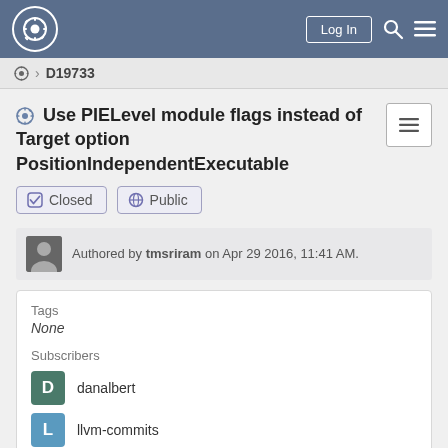Log In
⚙ > D19733
⚙ Use PIELevel module flags instead of Target option PositionIndependentExecutable
✔ Closed  🌐 Public
Authored by tmsriram on Apr 29 2016, 11:41 AM.
Tags
None
Subscribers
danalbert
llvm-commits
srhines
tberghammer